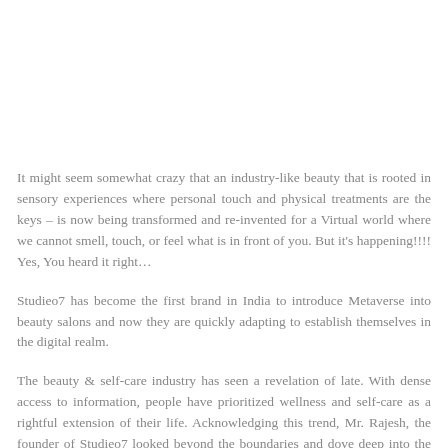It might seem somewhat crazy that an industry-like beauty that is rooted in sensory experiences where personal touch and physical treatments are the keys – is now being transformed and re-invented for a Virtual world where we cannot smell, touch, or feel what is in front of you. But it's happening!!!! Yes, You heard it right…
Studieo7 has become the first brand in India to introduce Metaverse into beauty salons and now they are quickly adapting to establish themselves in the digital realm.
The beauty & self-care industry has seen a revelation of late. With dense access to information, people have prioritized wellness and self-care as a rightful extension of their life. Acknowledging this trend, Mr. Rajesh, the founder of Studieo7 looked beyond the boundaries and dove deep into the knells of the business. A man with the motive to equate wellness with the